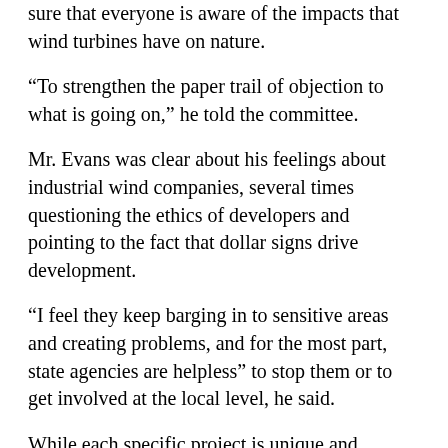sure that everyone is aware of the impacts that wind turbines have on nature.
“To strengthen the paper trail of objection to what is going on,” he told the committee.
Mr. Evans was clear about his feelings about industrial wind companies, several times questioning the ethics of developers and pointing to the fact that dollar signs drive development.
“I feel they keep barging in to sensitive areas and creating problems, and for the most part, state agencies are helpless” to stop them or to get involved at the local level, he said.
While each specific project is unique and depends on the environment it is constructed in, according to Mr. Evans, a large body of water, like the St. Lawrence River, is a prime location for flight patterns of migratory birds. Additionally, with Hammond’s project proposed to fall between the St. Lawrence and Black Lake, Mr. Evans